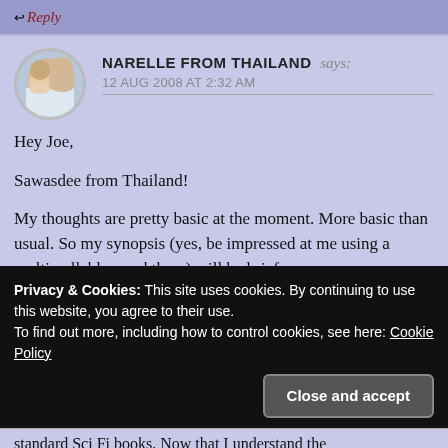↩ Reply
[Figure (photo): Circular avatar photo of a couple, man and woman outdoors]
NARELLE FROM THAILAND says:
12 AUG 2008 AT 2:32 AM
Hey Joe,

Sawasdee from Thailand!

My thoughts are pretty basic at the moment. More basic than usual. So my synopsis (yes, be impressed at me using a multi-syllable word there) will be brief.
Privacy & Cookies: This site uses cookies. By continuing to use this website, you agree to their use.
To find out more, including how to control cookies, see here: Cookie Policy
Close and accept
standard Sci Fi books. Now that I understand the